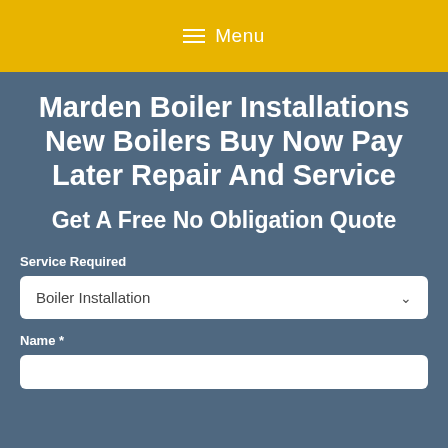Menu
Marden Boiler Installations New Boilers Buy Now Pay Later Repair And Service
Get A Free No Obligation Quote
Service Required
Boiler Installation
Name *